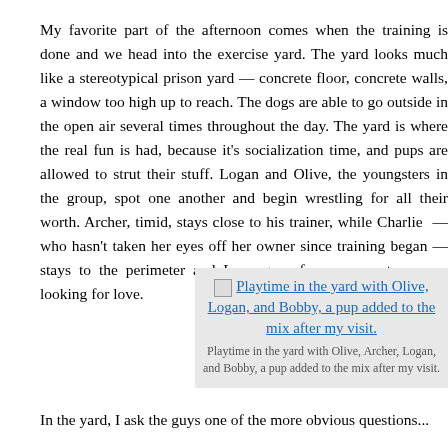My favorite part of the afternoon comes when the training is done and we head into the exercise yard. The yard looks much like a stereotypical prison yard — concrete floor, concrete walls, a window too high up to reach. The dogs are able to go outside in the open air several times throughout the day. The yard is where the real fun is had, because it’s socialization time, and pups are allowed to strut their stuff. Logan and Olive, the youngsters in the group, spot one another and begin wrestling for all their worth. Archer, timid, stays close to his trainer, while Charlie — who hasn’t taken her eyes off her owner since training began — stays to the perimeter and Luna goes from person to person looking for love.
[Figure (photo): Broken image placeholder with link text: Playtime in the yard with Olive, Logan, and Bobby, a pup added to the mix after my visit.]
Playtime in the yard with Olive, Archer, Logan, and Bobby, a pup added to the mix after my visit.
In the yard, I ask the guys one of the more obvious questions...